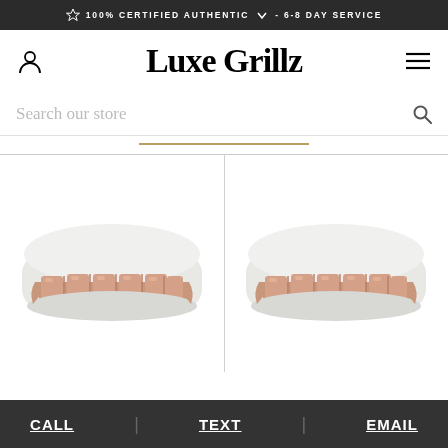100% CERTIFIED AUTHENTIC - 6-8 DAY SERVICE
Luxe Grillz
Search our store
[Figure (photo): Two rose gold dental grillz (teeth jewelry) displayed on white dental molds side by side]
CALL  TEXT  EMAIL